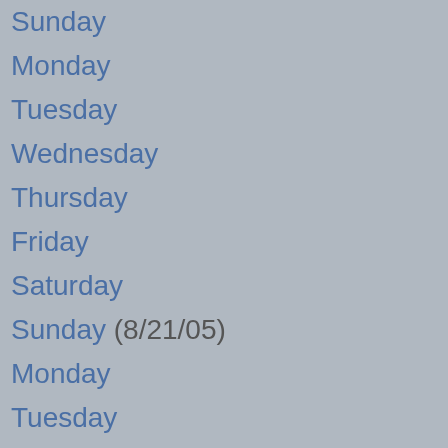Sunday
Monday
Tuesday
Wednesday
Thursday
Friday
Saturday
Sunday (8/21/05)
Monday
Tuesday
Wednesday
Thursday